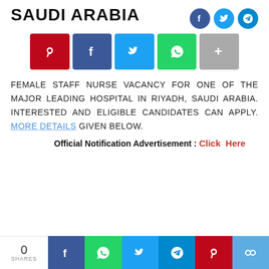SAUDI ARABIA
[Figure (infographic): Social share buttons bar with Pinterest (red), Facebook (blue), Twitter (light blue), WhatsApp (green), More (grey)]
FEMALE STAFF NURSE VACANCY FOR ONE OF THE MAJOR LEADING HOSPITAL IN RIYADH, SAUDI ARABIA. INTERESTED AND ELIGIBLE CANDIDATES CAN APPLY. MORE DETAILS GIVEN BELOW.
Official Notification Advertisement : Click Here
[Figure (infographic): Bottom share bar with 0 SHARES and social buttons: Facebook, WhatsApp, Twitter, Telegram, Pinterest, Link]